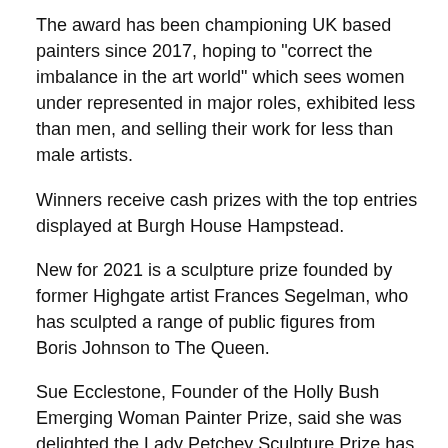The award has been championing UK based painters since 2017, hoping to "correct the imbalance in the art world" which sees women under represented in major roles, exhibited less than men, and selling their work for less than male artists.
Winners receive cash prizes with the top entries displayed at Burgh House Hampstead.
New for 2021 is a sculpture prize founded by former Highgate artist Frances Segelman, who has sculpted a range of public figures from Boris Johnson to The Queen.
Sue Ecclestone, Founder of the Holly Bush Emerging Woman Painter Prize, said she was delighted the Lady Petchey Sculpture Prize has been added to the awards.
"After such a difficult 2020, the support of Lady